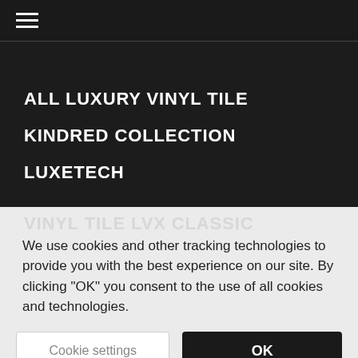☰ (hamburger menu)
ALL LUXURY VINYL TILE
KINDRED COLLECTION
LUXETECH
VINYL TILE LVX CLASSIC (ghost/watermark text)
We use cookies and other tracking technologies to provide you with the best experience on our site. By clicking "OK" you consent to the use of all cookies and technologies.
Cookie settings
OK